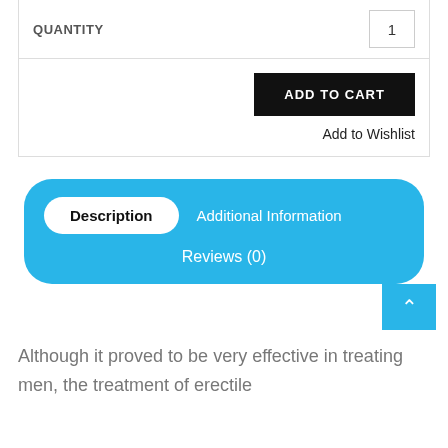QUANTITY
1
ADD TO CART
Add to Wishlist
Description
Additional Information
Reviews (0)
Although it proved to be very effective in treating men, the treatment of erectile